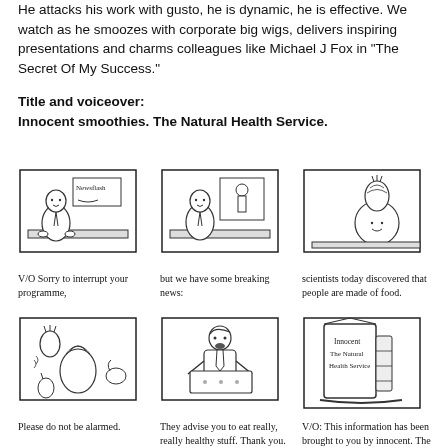He attacks his work with gusto, he is dynamic, he is effective. We watch as he smoozes with corporate big wigs, delivers inspiring presentations and charms colleagues like Michael J Fox in “The Secret Of My Success.”
Title and voiceover:
Innocent smoothies. The Natural Health Service.
[Figure (illustration): Six-panel storyboard sketch. Panel 1: TV news anchor at desk with 'Newsflash' sign, caption 'V/O Sorry to interrupt your programme,'. Panel 2: TV anchor at desk with figure behind, caption 'but we have some breaking news:'. Panel 3: Partial TV frame with pineapple-headed figure, caption 'scientists today discovered that people are made of food.'. Panel 4: Fruit and vegetable characters, caption 'Please do not be alarmed.'. Panel 5: Man in suit holding box, caption 'They advise you to eat really, really healthy stuff. Thank you.'. Panel 6: Innocent smoothie carton with text 'Innocent The Natural Health Service', caption 'V/O: This information has been brought to you by innocent. The Natural Health Service.']